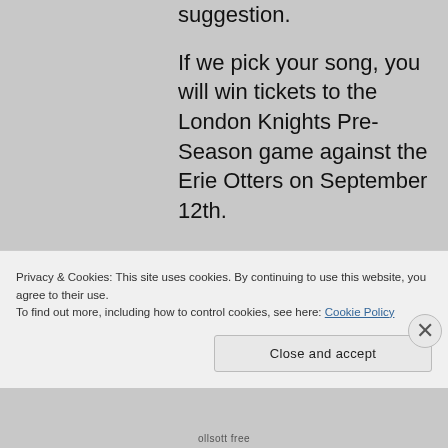suggestion.

If we pick your song, you will win tickets to the London Knights Pre-Season game against the Erie Otters on September 12th.

After the game, make sure to come see us at Fitzray's Restaurant & Lounge.

Make sure to have your entries in by
Privacy & Cookies: This site uses cookies. By continuing to use this website, you agree to their use.
To find out more, including how to control cookies, see here: Cookie Policy